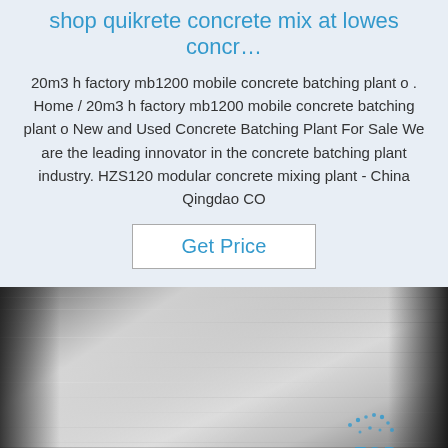shop quikrete concrete mix at lowes concr…
20m3 h factory mb1200 mobile concrete batching plant o . Home / 20m3 h factory mb1200 mobile concrete batching plant o New and Used Concrete Batching Plant For Sale We are the leading innovator in the concrete batching plant industry. HZS120 modular concrete mixing plant - China Qingdao CO
Get Price
[Figure (photo): Close-up photograph of a metallic/steel surface with brushed texture, dark edges, and a 'TOP' watermark logo in blue in the lower right corner.]